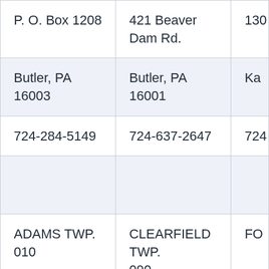| P. O. Box 1208 | 421 Beaver Dam Rd. | 130… |
| Butler, PA 16003 | Butler, PA 16001 | Ka… |
| 724-284-5149 | 724-637-2647 | 724… |
|  |  |  |
| ADAMS TWP.
010 | CLEARFIELD TWP.
090 | FO… |